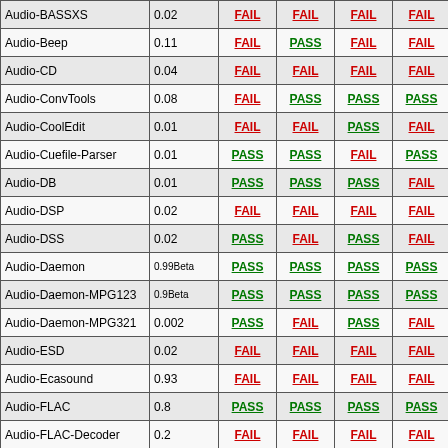| Name | Version | R1 | R2 | R3 | R4 | R5 |
| --- | --- | --- | --- | --- | --- | --- |
| Audio-BASSXS | 0.02 | FAIL | FAIL | FAIL | FAIL | FAIL |
| Audio-Beep | 0.11 | FAIL | PASS | FAIL | FAIL | FAIL |
| Audio-CD | 0.04 | FAIL | FAIL | FAIL | FAIL | FAIL |
| Audio-ConvTools | 0.08 | FAIL | PASS | PASS | PASS | PASS |
| Audio-CoolEdit | 0.01 | FAIL | FAIL | PASS | FAIL | FAIL |
| Audio-Cuefile-Parser | 0.01 | PASS | PASS | FAIL | PASS | PASS |
| Audio-DB | 0.01 | PASS | PASS | PASS | FAIL | FAIL |
| Audio-DSP | 0.02 | FAIL | FAIL | FAIL | FAIL | FAIL |
| Audio-DSS | 0.02 | PASS | FAIL | PASS | FAIL | PASS |
| Audio-Daemon | 0.99Beta | PASS | PASS | PASS | PASS | PASS |
| Audio-Daemon-MPG123 | 0.9Beta | PASS | PASS | PASS | PASS | PASS |
| Audio-Daemon-MPG321 | 0.002 | PASS | FAIL | PASS | FAIL | FAIL |
| Audio-ESD | 0.02 | FAIL | FAIL | FAIL | FAIL | FAIL |
| Audio-Ecasound | 0.93 | FAIL | FAIL | FAIL | FAIL | FAIL |
| Audio-FLAC | 0.8 | PASS | PASS | PASS | PASS | PASS |
| Audio-FLAC-Decoder | 0.2 | FAIL | FAIL | FAIL | FAIL | FAIL |
| Audio-FLAC-Header | 2.0 | FAIL | FAIL | FAIL | FAIL | FAIL |
| Audio-File | 0.10 | FAIL | FAIL | FAIL | FAIL | FAIL |
| Audio-FindChunks | 0.03 | PASS | PASS | PASS | PASS | PASS |
| Audio-Gramofile | 0.05 | FAIL | FAIL | FAIL | FAIL | FAIL |